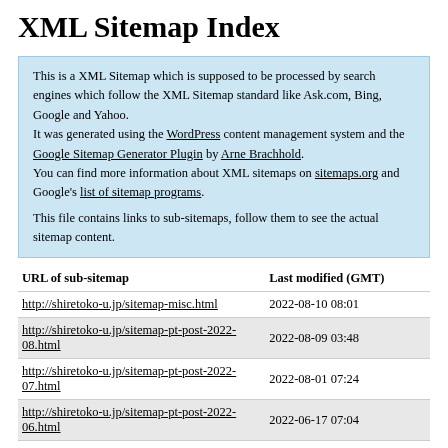XML Sitemap Index
This is a XML Sitemap which is supposed to be processed by search engines which follow the XML Sitemap standard like Ask.com, Bing, Google and Yahoo.
It was generated using the WordPress content management system and the Google Sitemap Generator Plugin by Arne Brachhold.
You can find more information about XML sitemaps on sitemaps.org and Google's list of sitemap programs.

This file contains links to sub-sitemaps, follow them to see the actual sitemap content.
| URL of sub-sitemap | Last modified (GMT) |
| --- | --- |
| http://shiretoko-u.jp/sitemap-misc.html | 2022-08-10 08:01 |
| http://shiretoko-u.jp/sitemap-pt-post-2022-08.html | 2022-08-09 03:48 |
| http://shiretoko-u.jp/sitemap-pt-post-2022-07.html | 2022-08-01 07:24 |
| http://shiretoko-u.jp/sitemap-pt-post-2022-06.html | 2022-06-17 07:04 |
| http://shiretoko-u.jp/sitemap-pt-post-2022-05.html | 2022-05-31 03:32 |
| http://shiretoko-u.jp/sitemap-pt-post-2022-04.html | 2022-04-21 08:11 |